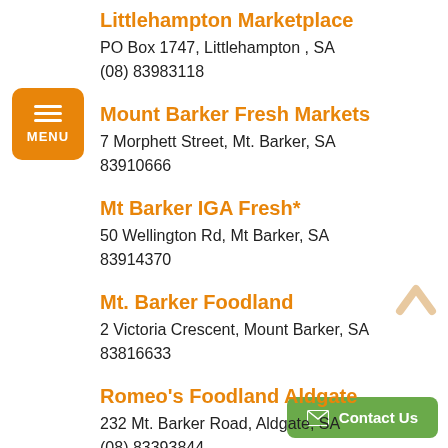Littlehampton Marketplace
PO Box 1747, Littlehampton , SA
(08) 83983118
Mount Barker Fresh Markets
7 Morphett Street, Mt. Barker, SA
83910666
Mt Barker IGA Fresh*
50 Wellington Rd, Mt Barker, SA
83914370
Mt. Barker Foodland
2 Victoria Crescent, Mount Barker, SA
83816633
Romeo's Foodland Aldgate
232 Mt. Barker Road, Aldgate, SA
(08) 83393844
Romeo's Foodland Stirling...